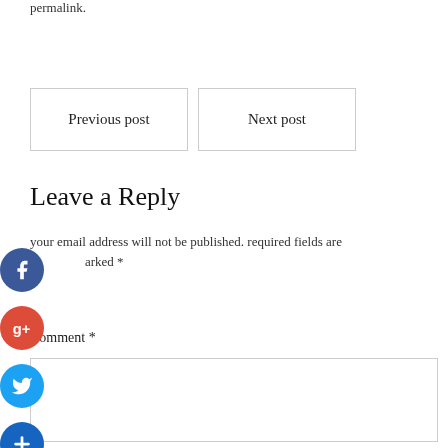permalink.
Previous post
Next post
Leave a Reply
your email address will not be published. required fields are marked *
Comment *